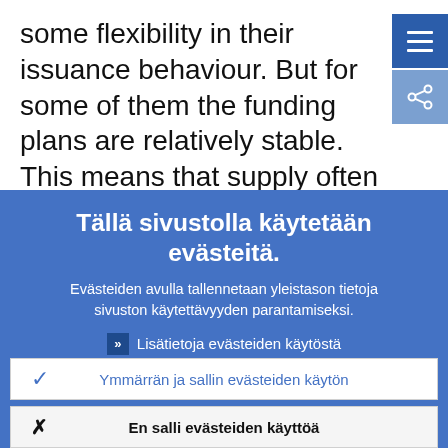some flexibility in their issuance behaviour. But for some of them the funding plans are relatively stable. This means that supply often tends to be inelastic in the short term and a sudden build-up of demand can
Tällä sivustolla käytetään evästeitä.
Evästeiden avulla tallennetaan yleistason tietoja sivuston käytettävyyden parantamiseksi.
Lisätietoja evästeiden käytöstä
Ymmärrän ja sallin evästeiden käytön
En salli evästeiden käyttöä